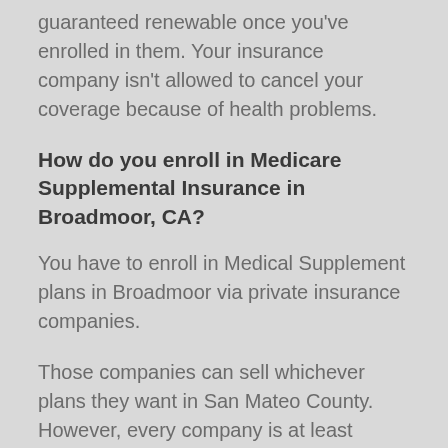guaranteed renewable once you've enrolled in them. Your insurance company isn't allowed to cancel your coverage because of health problems.
How do you enroll in Medicare Supplemental Insurance in Broadmoor, CA?
You have to enroll in Medical Supplement plans in Broadmoor via private insurance companies.
Those companies can sell whichever plans they want in San Mateo County. However, every company is at least required to offer Plan A.
Note that Plan A is not the same as Part A, Plan B is not the same as Part B, so on and so forth.